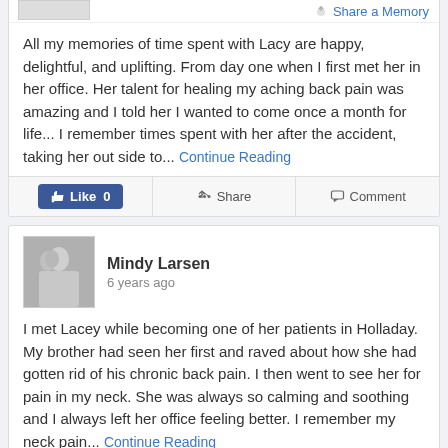All my memories of time spent with Lacy are happy, delightful, and uplifting. From day one when I first met her in her office. Her talent for healing my aching back pain was amazing and I told her I wanted to come once a month for life... I remember times spent with her after the accident, taking her out side to... Continue Reading
Mindy Larsen
6 years ago
I met Lacey while becoming one of her patients in Holladay. My brother had seen her first and raved about how she had gotten rid of his chronic back pain. I then went to see her for pain in my neck. She was always so calming and soothing and I always left her office feeling better. I remember my neck pain... Continue Reading